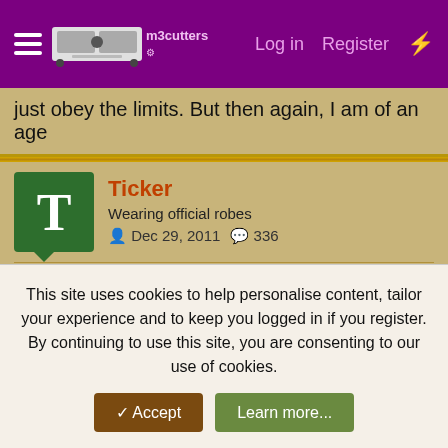m3cutters — Log in  Register
just obey the limits. But then again, I am of an age
Ticker
Wearing official robes
Dec 29, 2011  336
May 11, 2022  #26
JohnM3E90 said: ↑
Unfortunately it misses many of them ...............so you need a back-up, I use the AGURI-skyway pro GTX80, good bit of kit.
Scott, does it attach/ stick to windscreen or lie on top of dash?
This site uses cookies to help personalise content, tailor your experience and to keep you logged in if you register.
By continuing to use this site, you are consenting to our use of cookies.